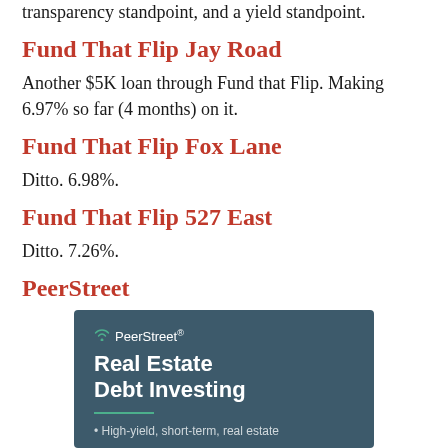transparency standpoint, and a yield standpoint.
Fund That Flip Jay Road
Another $5K loan through Fund that Flip. Making 6.97% so far (4 months) on it.
Fund That Flip Fox Lane
Ditto. 6.98%.
Fund That Flip 527 East
Ditto. 7.26%.
PeerStreet
[Figure (infographic): PeerStreet advertisement banner with dark teal background. Shows PeerStreet logo with wifi icon, heading 'Real Estate Debt Investing', green underline, and bullet point 'High-yield, short-term, real estate']